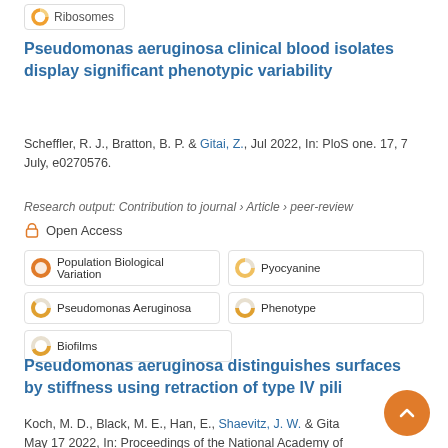[Figure (other): Ribosomes keyword tag with donut icon at top]
Pseudomonas aeruginosa clinical blood isolates display significant phenotypic variability
Scheffler, R. J., Bratton, B. P. & Gitai, Z., Jul 2022, In: PloS one. 17, 7 July, e0270576.
Research output: Contribution to journal › Article › peer-review
Open Access
Population Biological Variation
Pyocyanine
Pseudomonas Aeruginosa
Phenotype
Biofilms
Pseudomonas aeruginosa distinguishes surfaces by stiffness using retraction of type IV pili
Koch, M. D., Black, M. E., Han, E., Shaevitz, J. W. & Gita May 17 2022, In: Proceedings of the National Academy of Sciences of the United States of America. 119, 20, e2119434119,